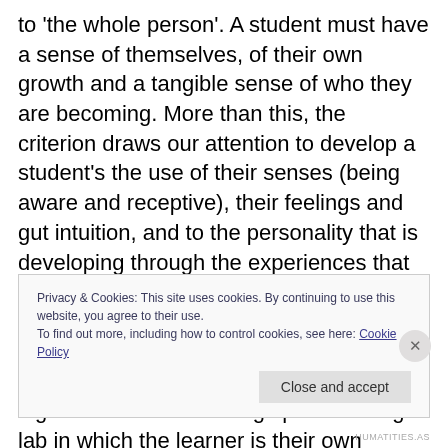to 'the whole person'. A student must have a sense of themselves, of their own growth and a tangible sense of who they are becoming. More than this, the criterion draws our attention to develop a student's the use of their senses (being aware and receptive), their feelings and gut intuition, and to the personality that is developing through the experiences that they have while at university. Education creates a fragile space which all students have to learn to navigate safely. Not only navigate, but negotiate. This makes a higher education learning space a living lab in which the learner is their own subject.
Privacy & Cookies: This site uses cookies. By continuing to use this website, you agree to their use.
To find out more, including how to control cookies, see here: Cookie Policy
HUMATITIES.AS